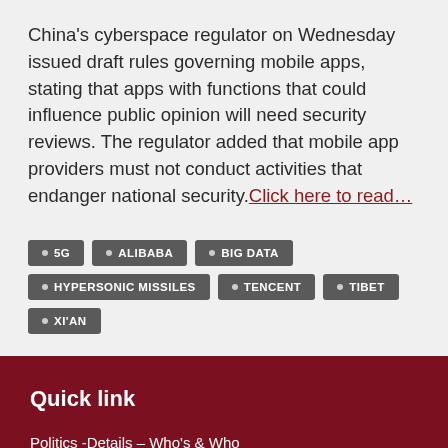China's cyberspace regulator on Wednesday issued draft rules governing mobile apps, stating that apps with functions that could influence public opinion will need security reviews. The regulator added that mobile app providers must not conduct activities that endanger national security. Click here to read...
5G
ALIBABA
BIG DATA
HYPERSONIC MISSILES
TENCENT
TIBET
XI'AN
Quick link
Politics -Details – Who's & Who
System, Policies and Development
Introduction